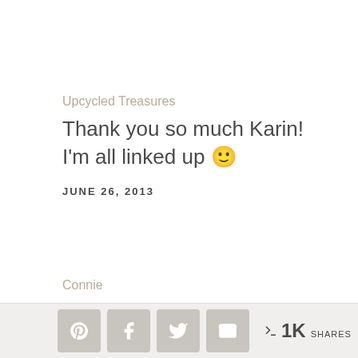Upcycled Treasures
Thank you so much Karin! I'm all linked up 🙂
JUNE 26, 2013
Connie
[Figure (infographic): Social share bar with Pinterest, Facebook, Twitter, Email buttons and 1K shares count]